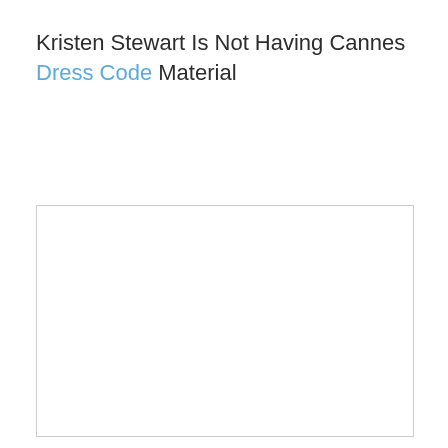Kristen Stewart Is Not Having Cannes Dress Code Material
[Figure (photo): A large image placeholder with a light gray border on white background, representing a photo associated with the article about Kristen Stewart at Cannes.]